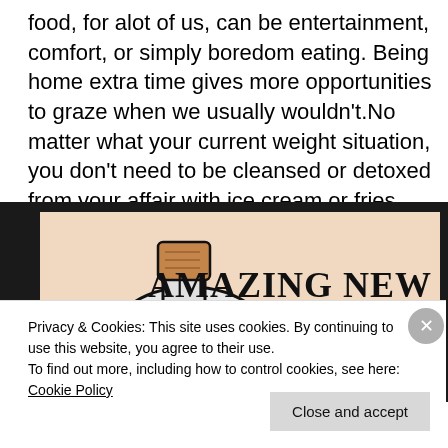food, for alot of us, can be entertainment, comfort, or simply boredom eating. Being home extra time gives more opportunities to graze when we usually wouldn’t.No matter what your current weight situation, you don’t need to be cleansed or detoxed from your affair with ice cream or fries.
[Figure (illustration): Advertisement image showing a bottle with a cork stopper and green label, with bold text reading 'AMAZING NEW DIET!' on a beige background with black border]
Privacy & Cookies: This site uses cookies. By continuing to use this website, you agree to their use.
To find out more, including how to control cookies, see here: Cookie Policy
Close and accept